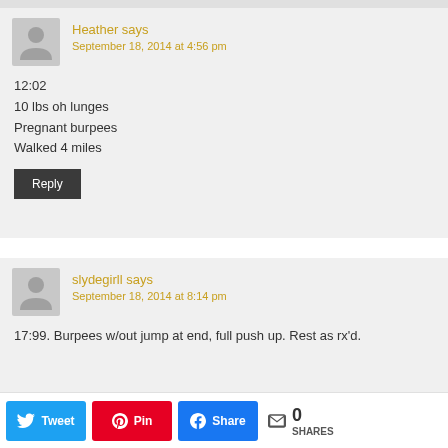Heather says
September 18, 2014 at 4:56 pm

12:02
10 lbs oh lunges
Pregnant burpees
Walked 4 miles
slydegirll says
September 18, 2014 at 8:14 pm

17:99. Burpees w/out jump at end, full push up. Rest as rx'd.